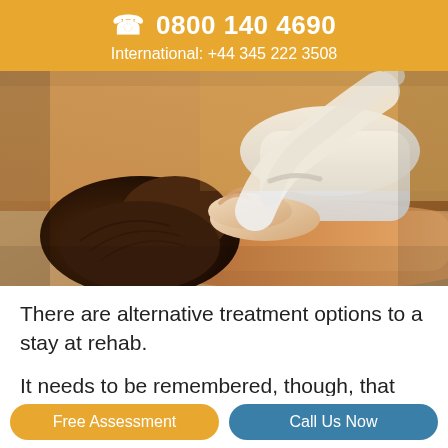☎ 0800 140 4690
International: +44 345 222 3508
[Figure (photo): A person lying face-down on a massage table receiving a back massage from a therapist wearing a white coat; warm golden-toned spa setting.]
There are alternative treatment options to a stay at rehab.
It needs to be remembered, though, that rehab offers the highest chance of recovery in...